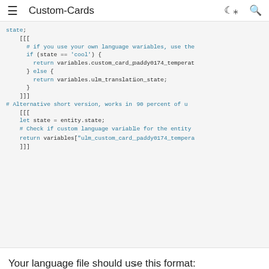Custom-Cards
state;
    [[[
      # if you use your own language variables, use the
      if (state == 'cool') {
        return variables.custom_card_paddy0174_temperat
      } else {
        return variables.ulm_translation_state;
      }
    ]]]
# Alternative short version, works in 90 percent of u
    [[[
    let state = entity.state;
    # Check if custom language variable for the entity
    return variables["ulm_custom_card_paddy0174_tempera
    ]]]
Your language file should use this format:
# EN.yaml for custom_card_paddy0174_temperature
custom_card_paddy0174_temperature_language_variables:
  variables: